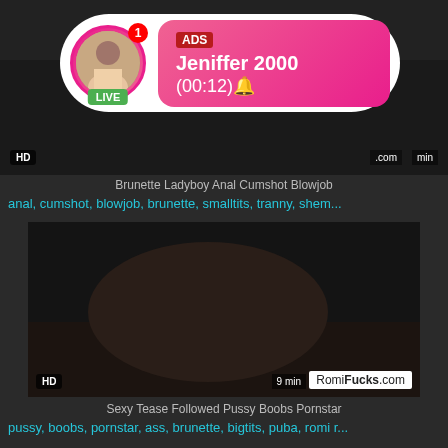[Figure (screenshot): Top video thumbnail showing dark background with HD badge and duration indicator, with an advertisement overlay bubble featuring a live avatar, 'ADS', 'Jeniffer 2000', and '(00:12)' callout]
Brunette Ladyboy Anal Cumshot Blowjob
anal, cumshot, blowjob, brunette, smalltits, tranny, shem...
[Figure (screenshot): Bottom video thumbnail with 'HD' badge, 'RomiFucks.com' watermark, and '9 min' duration label showing adult video content]
Sexy Tease Followed Pussy Boobs Pornstar
pussy, boobs, pornstar, ass, brunette, bigtits, puba, romi r...